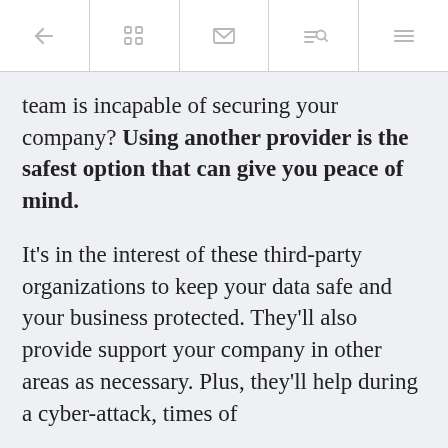[toolbar icons: back arrow, grid, email, search/list, hamburger menu]
team is incapable of securing your company? Using another provider is the safest option that can give you peace of mind.
It's in the interest of these third-party organizations to keep your data safe and your business protected. They'll also provide support your company in other areas as necessary. Plus, they'll help during a cyber-attack, times of